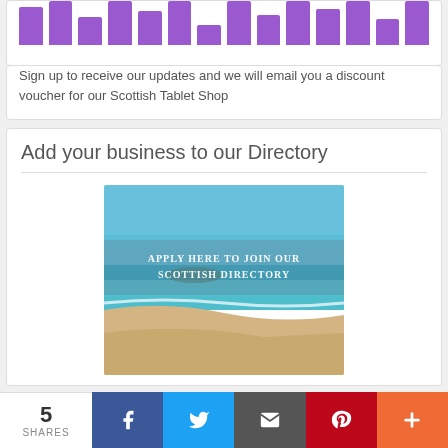[Figure (illustration): Purple vertical bars of varying heights arranged in a row, resembling a bar chart decoration]
Sign up to receive our updates and we will email you a discount voucher for our Scottish Tablet Shop
Add your business to our Directory
[Figure (photo): A Scottish beach scene with blue sky, turquoise sea, sandy beach, with overlay text reading 'APPLY HERE TO JOIN OUR SCOTTISH DIRECTORY']
5 SHARES
[Figure (infographic): Social sharing bar with Facebook, Twitter, Email, Pinterest, and More buttons]